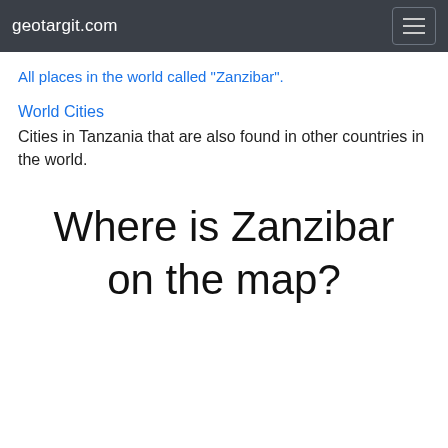geotargit.com
All places in the world called "Zanzibar".
World Cities
Cities in Tanzania that are also found in other countries in the world.
Where is Zanzibar on the map?